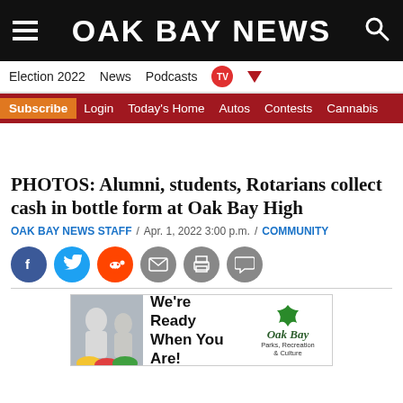OAK BAY NEWS
Election 2022  News  Podcasts  TV
Subscribe  Login  Today's Home  Autos  Contests  Cannabis
PHOTOS: Alumni, students, Rotarians collect cash in bottle form at Oak Bay High
OAK BAY NEWS STAFF / Apr. 1, 2022 3:00 p.m. / COMMUNITY
[Figure (infographic): Social sharing buttons: Facebook, Twitter, Reddit, Email, Print, Comment]
[Figure (infographic): Oak Bay Parks, Recreation & Culture advertisement: We're Ready When You Are!]